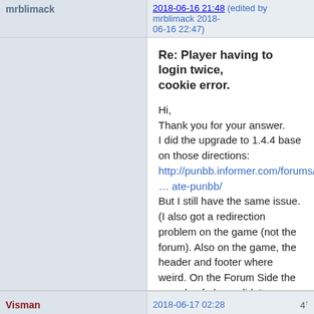mrblimack | 2018-06-16 21:48 (edited by mrblimack 2018-06-16 22:47)
Re: Player having to login twice, cookie error.
Hi,
Thank you for your answer.
I did the upgrade to 1.4.4 base on those directions: http://punbb.informer.com/forums/topic/ … ate-punbb/
But I still have the same issue.
(I also got a redirection problem on the game (not the forum). Also on the game, the header and footer where weird. On the Forum Side the pseudo of player didn't appeared on top of the Avatar)
Visman | 2018-06-17 02:28 | 4